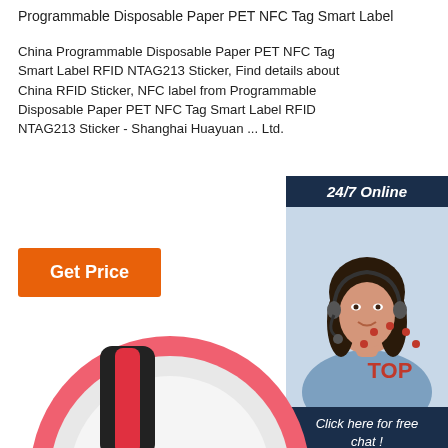Programmable Disposable Paper PET NFC Tag Smart Label
China Programmable Disposable Paper PET NFC Tag Smart Label RFID NTAG213 Sticker, Find details about China RFID Sticker, NFC label from Programmable Disposable Paper PET NFC Tag Smart Label RFID NTAG213 Sticker - Shanghai Huayuan ... Ltd.
[Figure (other): Orange 'Get Price' button]
[Figure (photo): 24/7 Online chat widget showing a woman with headset, 'Click here for free chat!' text, and QUOTATION button]
[Figure (logo): TOP badge with orange dots in arc above text]
[Figure (photo): Bottom portion of a circular NFC tag product in red/pink color]